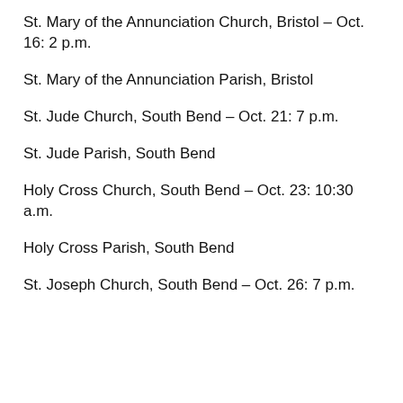St. Mary of the Annunciation Church, Bristol – Oct. 16: 2 p.m.
St. Mary of the Annunciation Parish, Bristol
St. Jude Church, South Bend – Oct. 21: 7 p.m.
St. Jude Parish, South Bend
Holy Cross Church, South Bend – Oct. 23: 10:30 a.m.
Holy Cross Parish, South Bend
St. Joseph Church, South Bend – Oct. 26: 7 p.m.